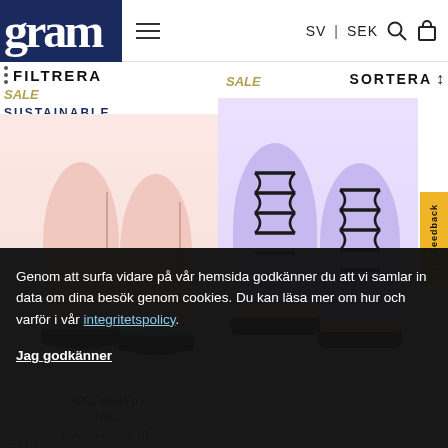[Figure (screenshot): E-commerce website header with dark navy logo showing 'gram', hamburger menu icon, SV|SEK language/currency selector, search and cart icons]
FILTRERA
SALE
SUSTAINABLE
SALE
SORTERA ↕
[Figure (photo): Pink leather ankle boots with black platform sole on white/pink background]
[Figure (photo): Lavender/lilac lace-up boots with black laces and black platform sole on light purple background]
425g elasto p...
leat...
1 995.00 SEK 79...
SALE
VEGAN
SUSTAINABLE
Genom att surfa vidare på vår hemsida godkänner du att vi samlar in data om dina besök genom cookies. Du kan läsa mer om hur och varför i vår integritetspolicy.

Jag godkänner